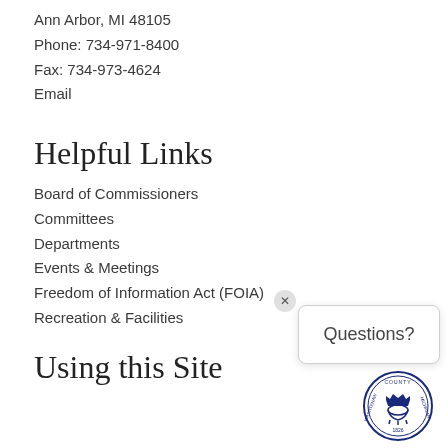Ann Arbor, MI 48105
Phone: 734-971-8400
Fax: 734-973-4624
Email
Helpful Links
Board of Commissioners
Committees
Departments
Events & Meetings
Freedom of Information Act (FOIA)
Recreation & Facilities
[Figure (screenshot): Questions? popup box with close button (x)]
[Figure (logo): Washtenaw County Michigan 1826 official seal]
Using this Site